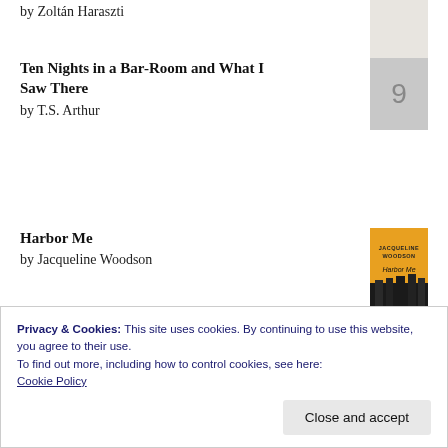by Zoltán Haraszti
Ten Nights in a Bar-Room and What I Saw There
by T.S. Arthur
Harbor Me
by Jacqueline Woodson
Black Baptists and African Missions: The
Privacy & Cookies: This site uses cookies. By continuing to use this website, you agree to their use.
To find out more, including how to control cookies, see here:
Cookie Policy
Close and accept